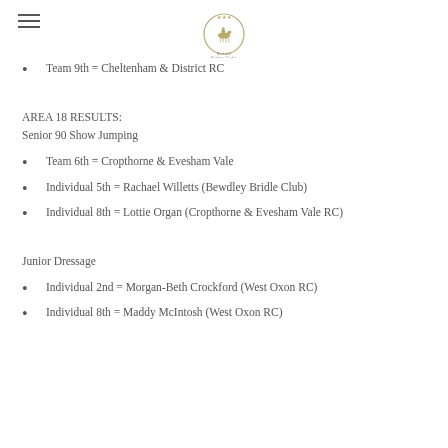[Figure (logo): British Riding Clubs logo — rider on horseback in a circular emblem with stars]
Team 9th = Cheltenham & District RC
AREA 18 RESULTS:
Senior 90 Show Jumping
Team 6th = Cropthorne & Evesham Vale
Individual 5th = Rachael Willetts (Bewdley Bridle Club)
Individual 8th = Lottie Organ (Cropthorne & Evesham Vale RC)
Junior Dressage
Individual 2nd = Morgan-Beth Crockford (West Oxon RC)
Individual 8th = Maddy McIntosh (West Oxon RC)